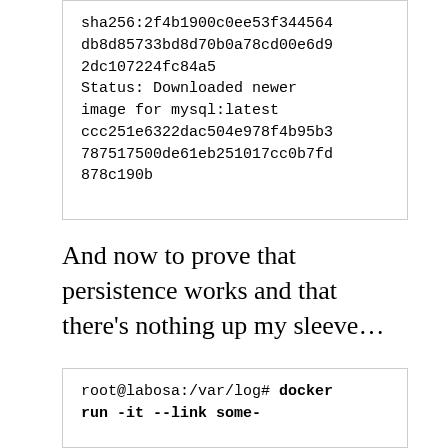[Figure (screenshot): Terminal/code block showing sha256 hash, status downloaded message, and container id hash]
And now to prove that persistence works and that there's nothing up my sleeve…
[Figure (screenshot): Terminal code block showing: root@labosa:/var/log# docker run -it --link some-]